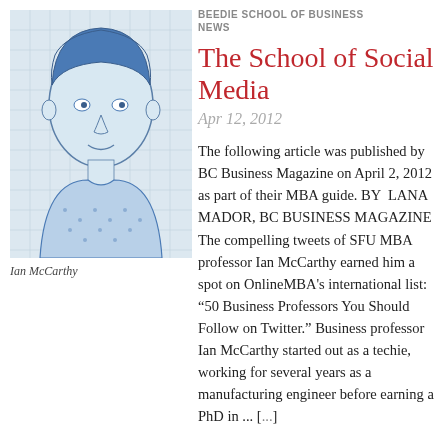[Figure (illustration): Blue ink illustration/sketch of Ian McCarthy, a man with blue hair and a sweater, drawn in a grid/brick pattern style]
Ian McCarthy
BEEDIE SCHOOL OF BUSINESS NEWS
The School of Social Media
Apr 12, 2012
The following article was published by BC Business Magazine on April 2, 2012 as part of their MBA guide. BY LANA MADOR, BC BUSINESS MAGAZINE The compelling tweets of SFU MBA professor Ian McCarthy earned him a spot on OnlineMBA's international list: "50 Business Professors You Should Follow on Twitter." Business professor Ian McCarthy started out as a techie, working for several years as a manufacturing engineer before earning a PhD in ...